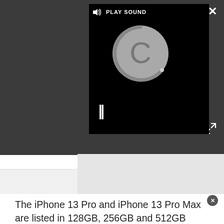[Figure (screenshot): Video media player on dark gray background showing a loading spinner (circular 'C' shape), pause button (||), and 'PLAY SOUND' bar at top. Close (X) button at top right and expand/fullscreen arrows at bottom right of overlay.]
The iPhone 13 Pro and iPhone 13 Pro Max are listed in 128GB, 256GB and 512GB configurations. That's the same as the equivalent iPhone 12 Pro models, but it also means rumors of a 1TB iPhone 13 Pro model seems less likely.
Of course, this is just one site prematurely listing